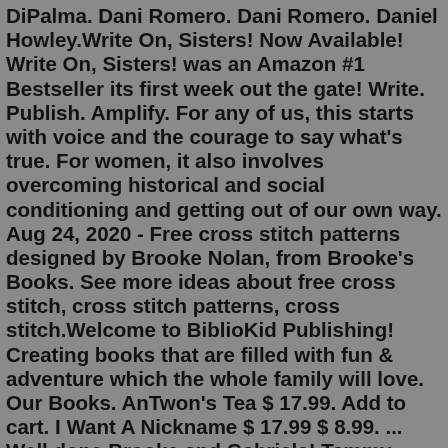DiPalma. Dani Romero. Dani Romero. Daniel Howley.Write On, Sisters! Now Available! Write On, Sisters! was an Amazon #1 Bestseller its first week out the gate! Write. Publish. Amplify. For any of us, this starts with voice and the courage to say what's true. For women, it also involves overcoming historical and social conditioning and getting out of our own way. Aug 24, 2020 - Free cross stitch patterns designed by Brooke Nolan, from Brooke's Books. See more ideas about free cross stitch, cross stitch patterns, cross stitch.Welcome to BiblioKid Publishing! Creating books that are filled with fun & adventure which the whole family will love. Our Books. AnTwon's Tea $ 17.99. Add to cart. I Want A Nickname $ 17.99 $ 8.99. ... Well done Brooke and Gabriela! Tammy Fortune BiblioKid Reader. This is a super fun, educational, and interactive book. It's sure to keep ...20 juil. 2015 - Explorez le tableau « Broderies - Brooke's Book Publishing » de Elise Le Masle, auquel 343 utilisateurs de Pinterest sont abonnés. Voir plus d'idées sur le thème point de croix, broderie, broderie